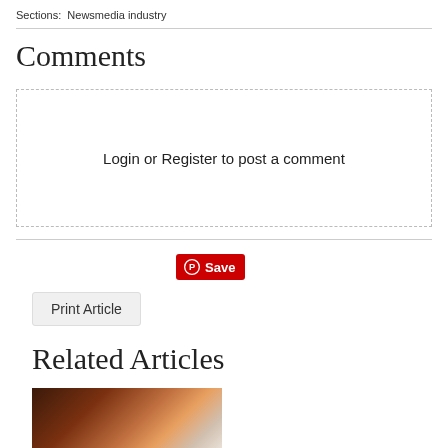Sections: Newsmedia industry
Comments
Login or Register to post a comment
[Figure (other): Pinterest Save button with red background and white text]
Print Article
Related Articles
[Figure (photo): Related article thumbnail image, blurred photo showing warm tones]